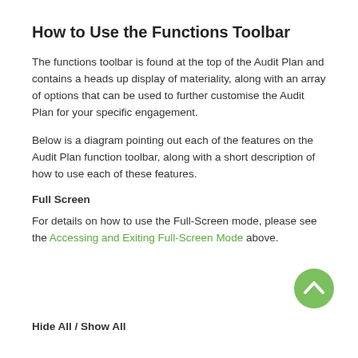How to Use the Functions Toolbar
The functions toolbar is found at the top of the Audit Plan and contains a heads up display of materiality, along with an array of options that can be used to further customise the Audit Plan for your specific engagement.
Below is a diagram pointing out each of the features on the Audit Plan function toolbar, along with a short description of how to use each of these features.
Full Screen
For details on how to use the Full-Screen mode, please see the Accessing and Exiting Full-Screen Mode above.
[Figure (illustration): Green circular up/back-to-top button with a white chevron arrow]
Hide All / Show All